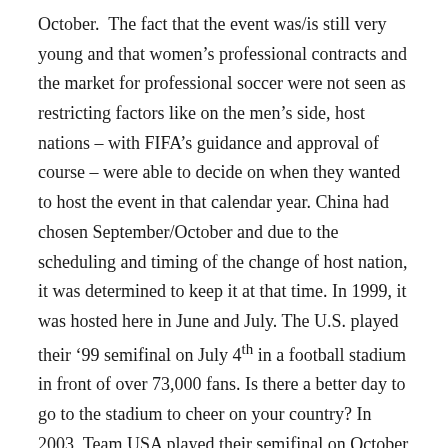October.  The fact that the event was/is still very young and that women's professional contracts and the market for professional soccer were not seen as restricting factors like on the men's side, host nations – with FIFA's guidance and approval of course – were able to decide on when they wanted to host the event in that calendar year. China had chosen September/October and due to the scheduling and timing of the change of host nation, it was determined to keep it at that time. In 1999, it was hosted here in June and July. The U.S. played their '99 semifinal on July 4th in a football stadium in front of over 73,000 fans. Is there a better day to go to the stadium to cheer on your country? In 2003, Team USA played their semifinal on October 5th in a wonderful soccer-specific stadium in Portland – PGE Park. It was filled to capacity, but that was only 27,623.